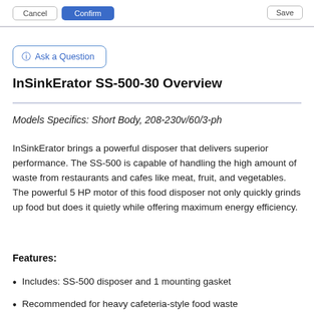Ask a Question [button] | navigation buttons
InSinkErator SS-500-30 Overview
Models Specifics: Short Body, 208-230v/60/3-ph
InSinkErator brings a powerful disposer that delivers superior performance. The SS-500 is capable of handling the high amount of waste from restaurants and cafes like meat, fruit, and vegetables. The powerful 5 HP motor of this food disposer not only quickly grinds up food but does it quietly while offering maximum energy efficiency.
Features:
Includes: SS-500 disposer and 1 mounting gasket
Recommended for heavy cafeteria-style food waste